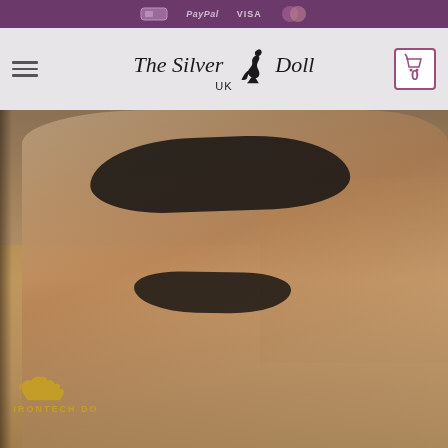Payment methods: PayPal, VISA, Mastercard
[Figure (logo): The Silver Doll UK logo with silhouette of a woman, navigation bar with hamburger menu and shopping cart showing 0 items]
[Figure (photo): Product photo showing a realistic doll seated on a beige sofa, wearing black lingerie. IronTech Doll watermark visible in bottom left corner.]